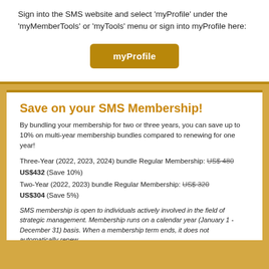Sign into the SMS website and select 'myProfile' under the 'myMemberTools' or 'myTools' menu or sign into myProfile here:
[Figure (other): Gold/brown 'myProfile' button]
Save on your SMS Membership!
By bundling your membership for two or three years, you can save up to 10% on multi-year membership bundles compared to renewing for one year!
Three-Year (2022, 2023, 2024) bundle Regular Membership: US$ 480 US$432 (Save 10%)
Two-Year (2022, 2023) bundle Regular Membership: US$ 320 US$304 (Save 5%)
SMS membership is open to individuals actively involved in the field of strategic management. Membership runs on a calendar year (January 1 - December 31) basis. When a membership term ends, it does not automatically renew.